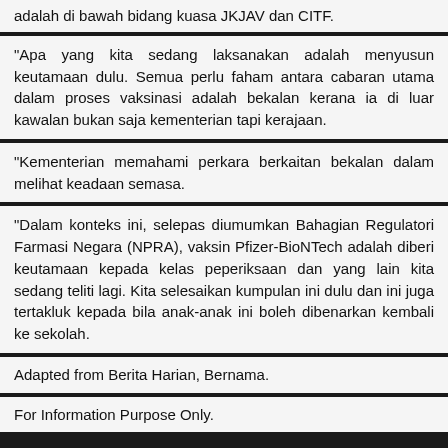adalah di bawah bidang kuasa JKJAV dan CITF.
"Apa yang kita sedang laksanakan adalah menyusun keutamaan dulu. Semua perlu faham antara cabaran utama dalam proses vaksinasi adalah bekalan kerana ia di luar kawalan bukan saja kementerian tapi kerajaan.
"Kementerian memahami perkara berkaitan bekalan dalam melihat keadaan semasa.
"Dalam konteks ini, selepas diumumkan Bahagian Regulatori Farmasi Negara (NPRA), vaksin Pfizer-BioNTech adalah diberi keutamaan kepada kelas peperiksaan dan yang lain kita sedang teliti lagi. Kita selesaikan kumpulan ini dulu dan ini juga tertakluk kepada bila anak-anak ini boleh dibenarkan kembali ke sekolah.
Adapted from Berita Harian, Bernama.
For Information Purpose Only.